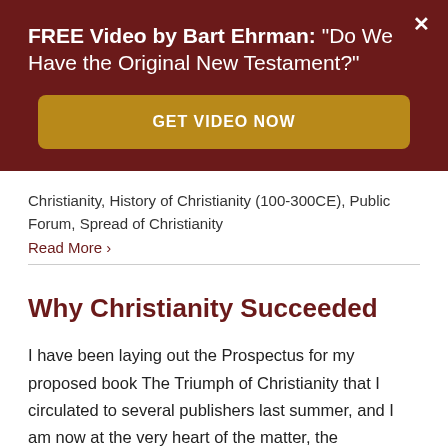FREE Video by Bart Ehrman: "Do We Have the Original New Testament?"
GET VIDEO NOW
Christianity, History of Christianity (100-300CE), Public Forum, Spread of Christianity
Read More ›
Why Christianity Succeeded
I have been laying out the Prospectus for my proposed book The Triumph of Christianity that I circulated to several publishers last summer, and I am now at the very heart of the matter, the explanation (as I saw it then) for why Christianity succeeded so massively in the